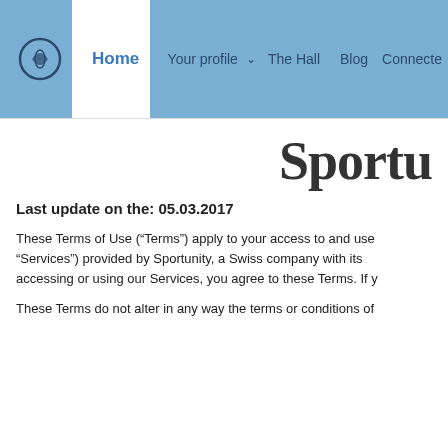Home  Your profile  The Hall  Blog  Connecte
Sportu
Last update on the: 05.03.2017
These Terms of Use (“Terms”) apply to your access to and use “Services”) provided by Sportunity, a Swiss company with its accessing or using our Services, you agree to these Terms. If y
These Terms do not alter in any way the terms or conditions of